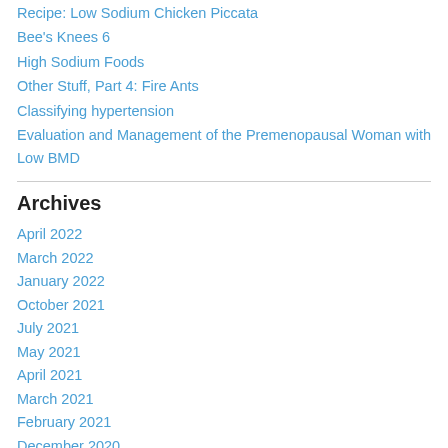Recipe: Low Sodium Chicken Piccata
Bee's Knees 6
High Sodium Foods
Other Stuff, Part 4: Fire Ants
Classifying hypertension
Evaluation and Management of the Premenopausal Woman with Low BMD
Archives
April 2022
March 2022
January 2022
October 2021
July 2021
May 2021
April 2021
March 2021
February 2021
December 2020